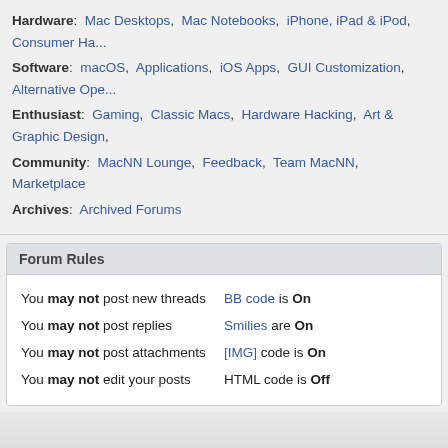Hardware: Mac Desktops, Mac Notebooks, iPhone, iPad & iPod, Consumer Ha...
Software: macOS, Applications, iOS Apps, GUI Customization, Alternative Ope...
Enthusiast: Gaming, Classic Macs, Hardware Hacking, Art & Graphic Design,...
Community: MacNN Lounge, Feedback, Team MacNN, Marketplace
Archives: Archived Forums
Forum Rules
You may not post new threads
You may not post replies
You may not post attachments
You may not edit your posts
BB code is On
Smilies are On
[IMG] code is On
HTML code is Off
↑ Top   All contents
Privacy Policy
All times are GMT -4. The time now is 03:40 PM.